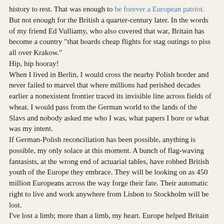history to rest. That was enough to be forever a European patriot. But not enough for the British a quarter-century later. In the words of my friend Ed Vulliamy, who also covered that war, Britain has become a country "that boards cheap flights for stag outings to piss all over Krakow."
Hip, hip hooray!
When I lived in Berlin, I would cross the nearby Polish border and never failed to marvel that where millions had perished decades earlier a nonexistent frontier traced its invisible line across fields of wheat. I would pass from the German world to the lands of the Slavs and nobody asked me who I was, what papers I bore or what was my intent.
If German-Polish reconciliation has been possible, anything is possible, my only solace at this moment. A bunch of flag-waving fantasists, at the wrong end of actuarial tables, have robbed British youth of the Europe they embrace. They will be looking on as 450 million Europeans across the way forge their fate. Their automatic right to live and work anywhere from Lisbon to Stockholm will be lost.
I've lost a limb; more than a limb, my heart. Europe helped Britain grow bigger and more open and more prosperous. Now it will shrink. Another suffering friend, Patrick Wintour, the diplomatic editor of The Guardian, sent me these lines of Auden:
In the nightmare of the dark
All the dogs of Europe bark,